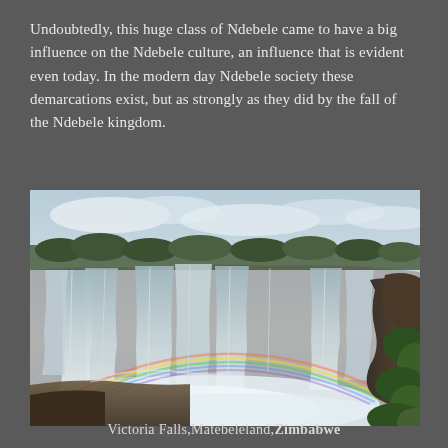Undoubtedly, this huge class of Ndebele came to have a big influence on the Ndebele culture, an influence that is evident even today. In the modern day Ndebele society these demarcations exist, but as strongly as they did by the fall of the Ndebele kingdom.
[Figure (photo): Victoria Falls waterfall with a rainbow visible in the mist, green vegetation on right side, rocky cliffs, and trees in the background under a partly cloudy sky.]
Victoria Falls,Matebeleland,Zimbabwe